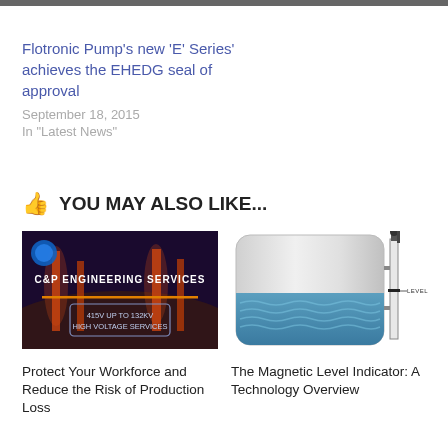Flotronic Pump's new 'E' Series' achieves the EHEDG seal of approval
September 18, 2015
In "Latest News"
👍 YOU MAY ALSO LIKE...
[Figure (photo): C&P Engineering Services banner image showing city lights at night with text '415V UP TO 132KV HIGH VOLTAGE SERVICES']
[Figure (illustration): Magnetic level indicator cross-section diagram showing fluid level in a tank with a float and level indicator marked]
Protect Your Workforce and Reduce the Risk of Production Loss
The Magnetic Level Indicator: A Technology Overview